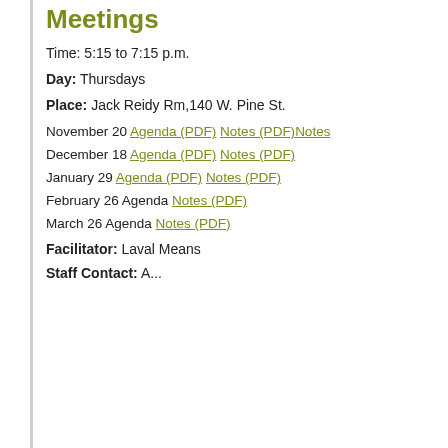Meetings
Time: 5:15 to 7:15 p.m.
Day: Thursdays
Place: Jack Reidy Rm,140 W. Pine St.
November 20 Agenda (PDF) Notes (PDF)Notes
December 18 Agenda (PDF) Notes (PDF)
January 29 Agenda (PDF) Notes (PDF)
February 26 Agenda Notes (PDF)
March 26 Agenda Notes (PDF)
Facilitator: Laval Means
Staff Contact: A...